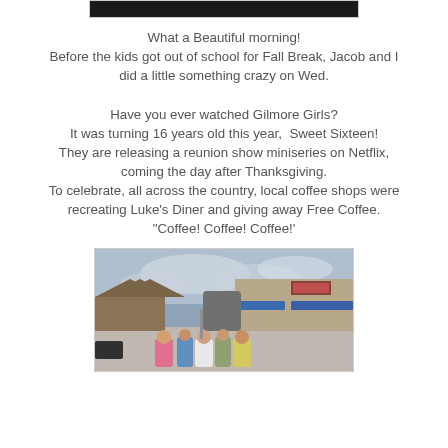[Figure (photo): Top partial photo, dark image cropped at top of page]
What a Beautiful morning!
Before the kids got out of school for Fall Break, Jacob and I did a little something crazy on Wed.

Have you ever watched Gilmore Girls?
It was turning 16 years old this year,  Sweet Sixteen!
They are releasing a reunion show miniseries on Netflix, coming the day after Thanksgiving.
To celebrate, all across the country, local coffee shops were recreating Luke's Diner and giving away Free Coffee. "Coffee! Coffee! Coffee!'
[Figure (photo): Photo of people standing in line outside a strip mall shopping center with blue awnings, cloudy sky in background]